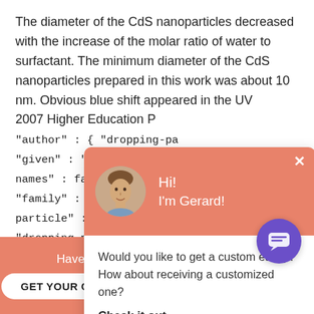The diameter of the CdS nanoparticles decreased with the increase of the molar ratio of water to surfactant. The minimum diameter of the CdS nanoparticles prepared in this work was about 10 nm. Obvious blue shift appeared in the UV
2007 Higher Education P
"author" : { "dropping-pa "given" : "Jinxin", "non-d names" : false, "suffix" : "family" : "Zhao", "given particle" : "", "parse-nan "dropping-particle" : "", "Gaorong", "non-droppi : false, "suffix" : "" }, "container-title" : "Frontie
[Figure (other): Chat popup widget with salmon/orange header showing avatar of a young man, greeting 'Hi! I'm Gerard!', close button, and body text 'Would you like to get a custom essay? How about receiving a customized one?' with 'Check it out' link. Purple chat bubble button in lower right.]
Haven't Found The Essay You Want?
GET YOUR CUSTOM ESSAY    For Only $13.90/page